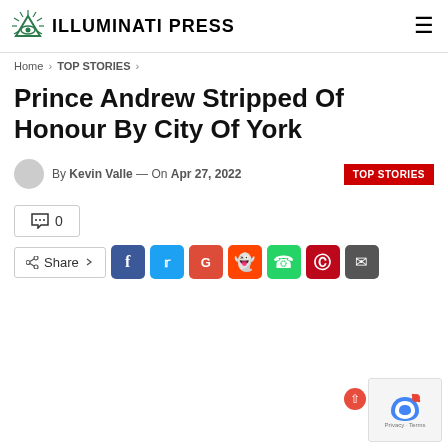ILLUMINATI PRESS
Home > TOP STORIES >
Prince Andrew Stripped Of Honour By City Of York
By Kevin Valle — On Apr 27, 2022  TOP STORIES
0
Share